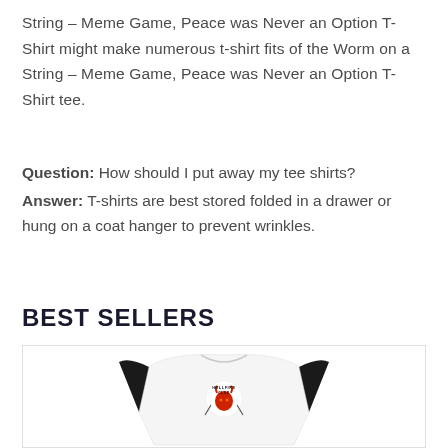String – Meme Game, Peace was Never an Option T-Shirt might make numerous t-shirt fits of the Worm on a String – Meme Game, Peace was Never an Option T-Shirt tee.
Question: How should I put away my tee shirts? Answer: T-shirts are best stored folded in a drawer or hung on a coat hanger to prevent wrinkles.
BEST SELLERS
[Figure (photo): A white and black raglan long-sleeve baseball shirt with a Hellfire Club logo featuring a red devil head graphic on the chest area.]